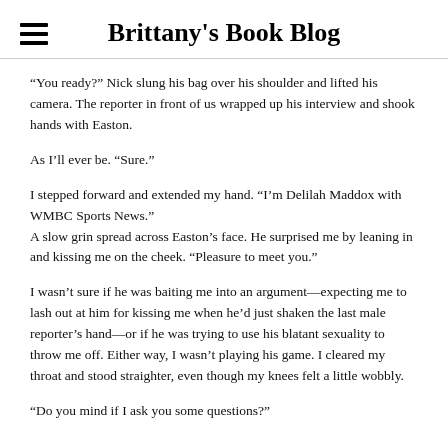Brittany's Book Blog
“You ready?” Nick slung his bag over his shoulder and lifted his camera. The reporter in front of us wrapped up his interview and shook hands with Easton.
As I’ll ever be. “Sure.”
I stepped forward and extended my hand. “I’m Delilah Maddox with WMBC Sports News.”
A slow grin spread across Easton’s face. He surprised me by leaning in and kissing me on the cheek. “Pleasure to meet you.”
I wasn’t sure if he was baiting me into an argument—expecting me to lash out at him for kissing me when he’d just shaken the last male reporter’s hand—or if he was trying to use his blatant sexuality to throw me off. Either way, I wasn’t playing his game. I cleared my throat and stood straighter, even though my knees felt a little wobbly.
“Do you mind if I ask you some questions?”